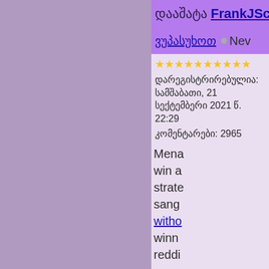დააშატა FrankJScott 330
ვუპასუხოთ • Nev
★★★★★★★★★★
დარეგისტრირებულია: სამშაბათი, 21 სექტემბერი 2021 წ. 22:29
კომენტარები: 2965
Mena win a strate sang witho winn reddi mena bacc bacc baru best strate is bo to wi play agen look